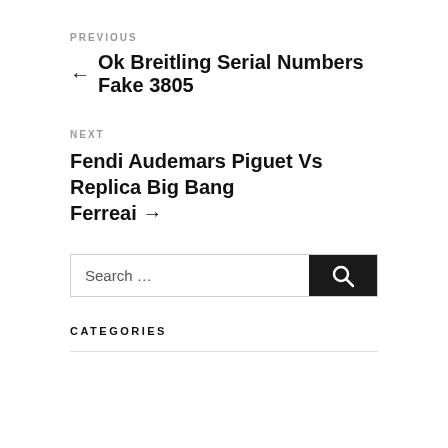PREVIOUS
← Ok Breitling Serial Numbers Fake 3805
NEXT
Fendi Audemars Piguet Vs Replica Big Bang Ferreai →
Search …
CATEGORIES